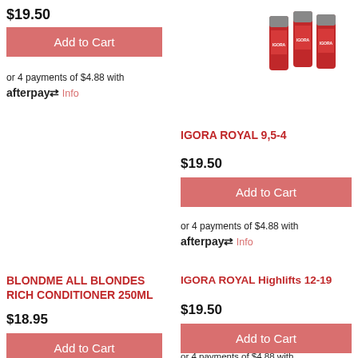$19.50
Add to Cart
or 4 payments of $4.88 with afterpay Info
[Figure (photo): Three tubes of Schwarzkopf IGORA ROYAL hair color product in red packaging]
IGORA ROYAL 9,5-4
$19.50
Add to Cart
or 4 payments of $4.88 with afterpay Info
BLONDME ALL BLONDES RICH CONDITIONER 250ML
$18.95
Add to Cart
IGORA ROYAL Highlifts 12-19
$19.50
Add to Cart
or 4 payments of $4.88 with